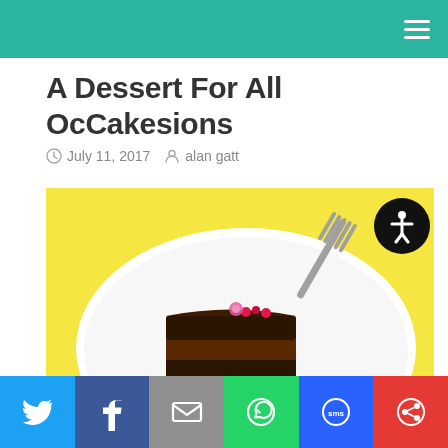A Dessert For All OcCakesions
July 11, 2017   alan gatt
[Figure (photo): Slice of dark chocolate cake with pink flower garnish on a white plate, with a silver fork, on a bright yellow background]
Social share bar: Twitter, Facebook, Email, WhatsApp, SMS, Share